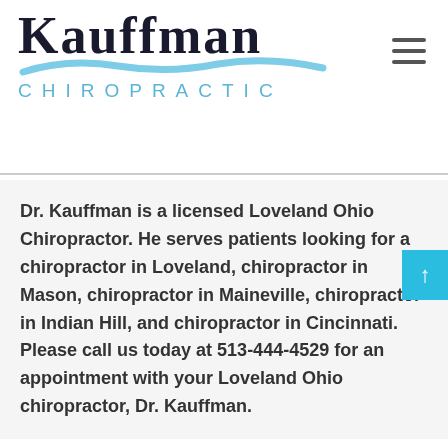[Figure (logo): Kauffman Chiropractic logo with large serif text KAUFFMAN, blue wave graphic, and spaced sans-serif text CHIROPRACTIC below]
Dr. Kauffman is a licensed Loveland Ohio Chiropractor. He serves patients looking for a chiropractor in Loveland, chiropractor in Mason, chiropractor in Maineville, chiropractor in Indian Hill, and chiropractor in Cincinnati.  Please call us today at 513-444-4529 for an appointment with your Loveland Ohio chiropractor, Dr. Kauffman.